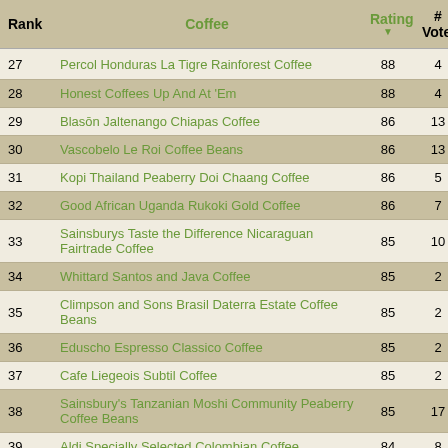| Rank | Coffee | Rating | # Votes |
| --- | --- | --- | --- |
| 27 | Percol Honduras La Tigre Rainforest Coffee | 88 | 4 |
| 28 | Honest Coffees Up And At 'Em | 88 | 4 |
| 29 | Blasōn Jaltenango Chiapas Coffee | 86 | 13 |
| 30 | Vascobelo Le Roi Coffee Beans | 86 | 13 |
| 31 | Kopi Thailand Peaberry Doi Chaang Coffee | 86 | 5 |
| 32 | Good African Uganda Rukoki Gold Coffee | 86 | 7 |
| 33 | Sainsburys Taste the Difference Nicaraguan Fairtrade Coffee | 85 | 10 |
| 34 | Whittard Santos and Java Coffee | 85 | 2 |
| 35 | Climpson and Sons Brasil Daterra Estate Coffee Beans | 85 | 2 |
| 36 | Eduscho Espresso Classico Coffee | 85 | 2 |
| 37 | Cafe Liegeois Subtil Coffee | 85 | 2 |
| 38 | Sainsbury's Tanzanian Moshi Community Peaberry Coffee Beans | 85 | 17 |
| 39 | Aldi Specially Selected Colombian Coffee | 84 | 8 |
| 40 | Carte Noire Coffee | 83 | 72 |
| 41 | Climpson and Sons The Baron Espresso Blend Coffee Beans | 83 | 3 |
| 42 | ... | 83 | 13 |